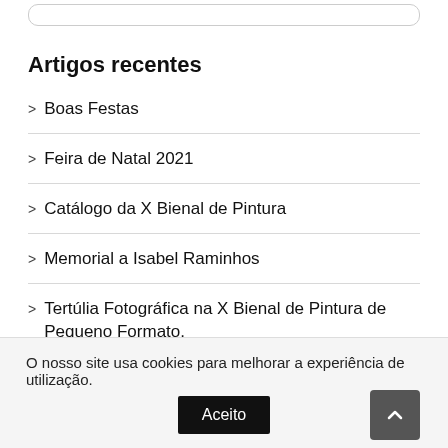Artigos recentes
Boas Festas
Feira de Natal 2021
Catálogo da X Bienal de Pintura
Memorial a Isabel Raminhos
Tertúlia Fotográfica na X Bienal de Pintura de Pequeno Formato.
O nosso site usa cookies para melhorar a experiência de utilização.